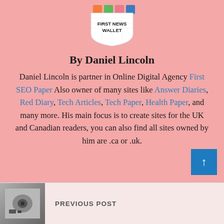[Figure (logo): First News Wallet logo with colored squares (orange, green, pink, blue) above a shield/badge shape with text 'FIRST NEWS WALLET']
By Daniel Lincoln
Daniel Lincoln is partner in Online Digital Agency First SEO Paper Also owner of many sites like Answer Diaries, Red Diary, Tech Articles, Tech Paper, Health Paper, and many more. His main focus is to create sites for the UK and Canadian readers, you can also find all sites owned by him are .ca or .uk.
[Figure (other): Blue scroll-to-top button with upward arrow]
PREVIOUS POST